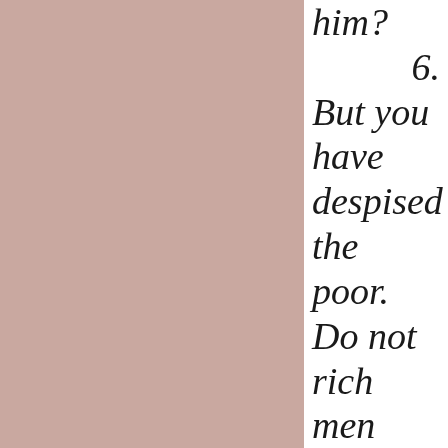[Figure (illustration): Large dusty rose / mauve colored rectangular panel occupying the left two-thirds of the page]
him? 6. But you have despised the poor. Do not rich men oppress you, and